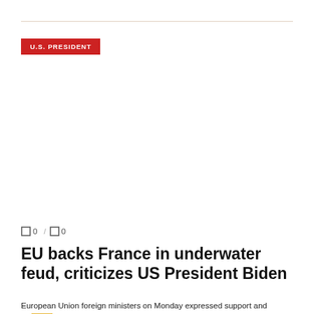U.S. PRESIDENT
[Figure (photo): Photo area for article image (blank/white in this view)]
0   /   0
EU backs France in underwater feud, criticizes US President Biden
European Union foreign ministers on Monday expressed support and solidarity